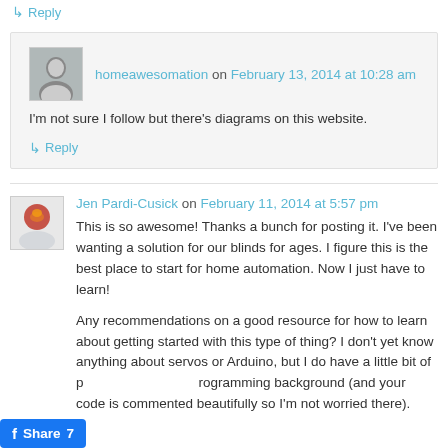↳ Reply
homeawesomation on February 13, 2014 at 10:28 am
I'm not sure I follow but there's diagrams on this website.
↳ Reply
Jen Pardi-Cusick on February 11, 2014 at 5:57 pm
This is so awesome! Thanks a bunch for posting it. I've been wanting a solution for our blinds for ages. I figure this is the best place to start for home automation. Now I just have to learn!
Any recommendations on a good resource for how to learn about getting started with this type of thing? I don't yet know anything about servos or Arduino, but I do have a little bit of programming background (and your code is commented beautifully so I'm not worried there).